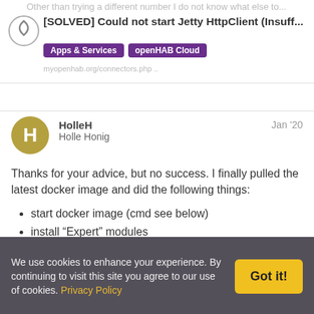[SOLVED] Could not start Jetty HttpClient (Insuff... Apps & Services openHAB Cloud
Thanks for your advice, but no success. I finally pulled the latest docker image and did the following things:
start docker image (cmd see below)
install “Expert” modules
installed OH cloud connector via PaperUI
Status is online - again - but same error. But OH log shows an interesting new error msg, it seems that the jetty http client could net be started at all. Unfortunately I’m zero into Java so I
We use cookies to enhance your experience. By continuing to visit this site you agree to our use of cookies. Privacy Policy